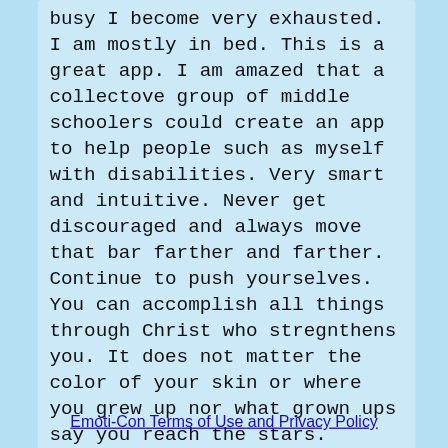busy I become very exhausted. I am mostly in bed. This is a great app. I am amazed that a collectove group of middle schoolers could create an app to help people such as myself with disabilities. Very smart and intuitive. Never get discouraged and always move that bar farther and farther. Continue to push yourselves. You can accomplish all things through Christ who stregnthens you. It does not matter the color of your skin or where you grew up nor what grown ups say you reach the stars.
Emoti-Con Terms of Use and Privacy Policy